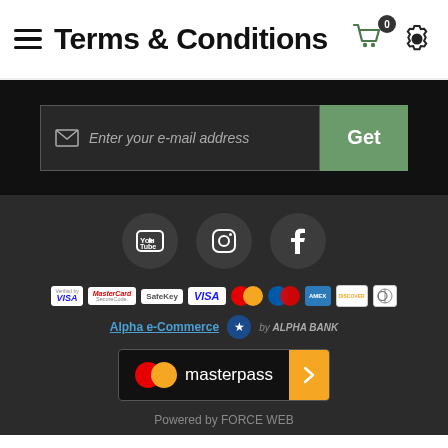Terms & Conditions
[Figure (screenshot): Email subscription input field with 'Enter your e-mail address' placeholder and a green 'Get' button]
[Figure (infographic): Social media icons: YouTube, Instagram, Facebook in dark circular buttons]
[Figure (infographic): Payment method logos: Verified by Visa, MasterCard SecureCode, SafeKey, VISA, Mastercard, Maestro, American Express, Discover, Diners]
[Figure (logo): Alpha e-Commerce logo with star icon]
[Figure (logo): Masterpass button with Mastercard circles logo and orange arrow]
Powered by FORCE WEB